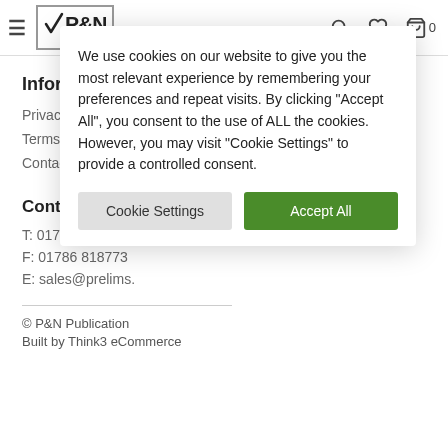P&N ...the right choice — navigation header with hamburger, logo, search, wishlist, cart (0)
Information
Privacy Policy
Terms And Conditions
Contact Us
Contact Us
T: 01786 815195
F: 01786 818773
E: sales@prelims.
We use cookies on our website to give you the most relevant experience by remembering your preferences and repeat visits. By clicking "Accept All", you consent to the use of ALL the cookies. However, you may visit "Cookie Settings" to provide a controlled consent.
Cookie Settings | Accept All
© P&N Publication
Built by Think3 eCommerce